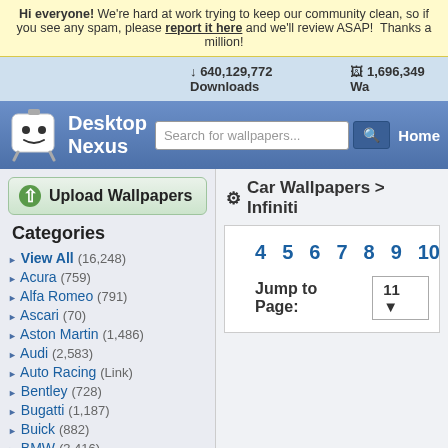Hi everyone! We're hard at work trying to keep our community clean, so if you see any spam, please report it here and we'll review ASAP! Thanks a million!
640,129,772 Downloads   1,696,349 Wallpapers
[Figure (logo): Desktop Nexus logo with white robot mascot and blue text]
Search for wallpapers...  Home
Upload Wallpapers
Categories
View All (16,248)
Acura (759)
Alfa Romeo (791)
Ascari (70)
Aston Martin (1,486)
Audi (2,583)
Auto Racing (Link)
Bentley (728)
Bugatti (1,187)
Buick (882)
BMW (3,416)
Cadillac (1,167)
Chevrolet (14,550)
Chrysler (509)
Citroen (481)
Car Wallpapers > Infiniti
4  5  6  7  8  9  10
Jump to Page:  11